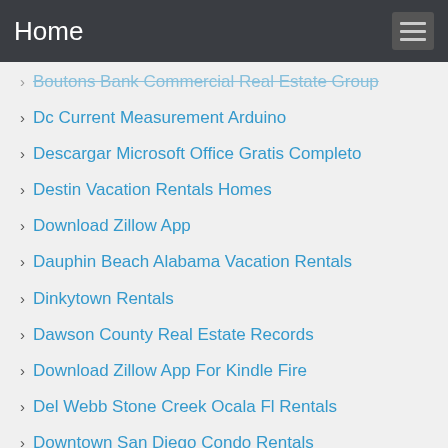Home
Boutons Bank Commercial Real Estate Group
Dc Current Measurement Arduino
Descargar Microsoft Office Gratis Completo
Destin Vacation Rentals Homes
Download Zillow App
Dauphin Beach Alabama Vacation Rentals
Dinkytown Rentals
Dawson County Real Estate Records
Download Zillow App For Kindle Fire
Del Webb Stone Creek Ocala Fl Rentals
Downtown San Diego Condo Rentals
Destin Pontoon Boat Rentals With Captain
Dfw Inflatable Rentals